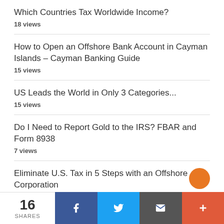Which Countries Tax Worldwide Income?
18 views
How to Open an Offshore Bank Account in Cayman Islands – Cayman Banking Guide
15 views
US Leads the World in Only 3 Categories...
15 views
Do I Need to Report Gold to the IRS? FBAR and Form 8938
7 views
Eliminate U.S. Tax in 5 Steps with an Offshore Corporation
6 views
What is a Mexican SOFOM?
16 SHARES